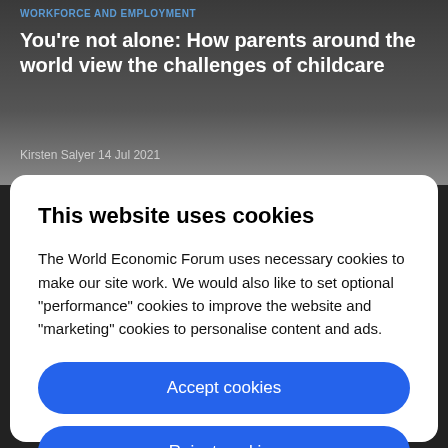WORKFORCE AND EMPLOYMENT
You're not alone: How parents around the world view the challenges of childcare
Kirsten Salyer 14 Jul 2021
This website uses cookies
The World Economic Forum uses necessary cookies to make our site work. We would also like to set optional "performance" cookies to improve the website and "marketing" cookies to personalise content and ads.
Accept cookies
Reject cookies
Cookie settings